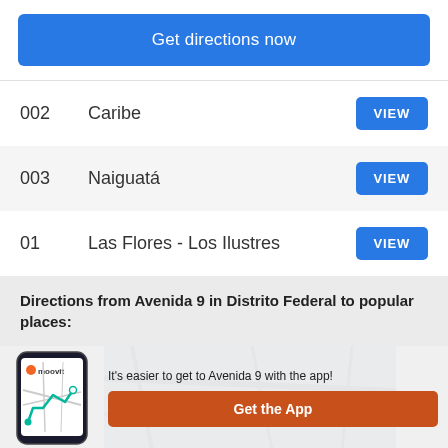Get directions now
002   Caribe   VIEW
003   Naiguatá   VIEW
01   Las Flores - Los Ilustres   VIEW
Directions from Avenida 9 in Distrito Federal to popular places:
[Figure (screenshot): Moovit app phone mockup with map background and 'Get the App' button]
It's easier to get to Avenida 9 with the app!
Get the App